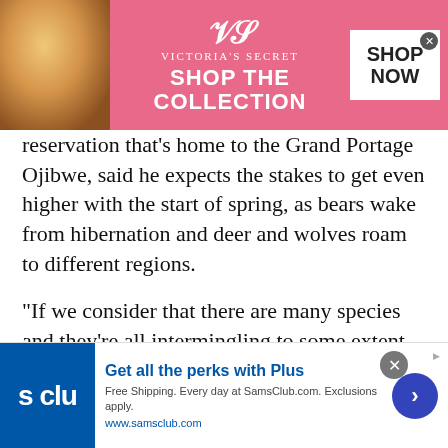[Figure (screenshot): Victoria's Secret advertisement banner with pink background, model photo, logo, 'SHOP THE COLLECTION' text, and 'SHOP NOW' button]
reservation that's home to the Grand Portage Ojibwe, said he expects the stakes to get even higher with the start of spring, as bears wake from hibernation and deer and wolves roam to different regions.
“If we consider that there are many species and they’re all intermingling to some extent, their patterns and their movements can exponentially increase the amount of transmission that could occur,” he said.
INTO THE WILD
[Figure (screenshot): Sam's Club advertisement banner with blue logo box showing 's clu', headline 'Get all the perks with Plus', body text about free shipping, and blue arrow button]